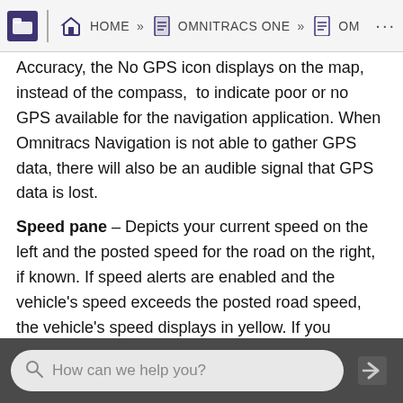HOME » OMNITRACS ONE » OM ...
Accuracy, the No GPS icon displays on the map, instead of the compass,  to indicate poor or no GPS available for the navigation application. When Omnitracs Navigation is not able to gather GPS data, there will also be an audible signal that GPS data is lost.
Speed pane – Depicts your current speed on the left and the posted speed for the road on the right, if known. If speed alerts are enabled and the vehicle's speed exceeds the posted road speed, the vehicle's speed displays in yellow. If you exceed the speeding threshold the vehicle's speed displays in red.
Status Bar – Displays the estimated time of arrival and remaining time and distance until your reach your destination. Tap the orange expand arrow to see your Route Status and full Destination address. On the expanded window, you can Cancel or Arrive the destination and go to your list of trips.
How can we help you?